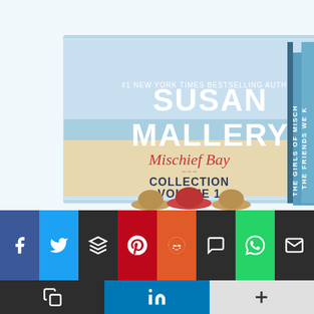[Figure (photo): Book box set: Susan Mallery Mischief Bay Collection Volume 1, showing three book spines: The Girls of Mischief Bay, The Friends We Keep, A Million Little Things]
[Figure (infographic): Social sharing toolbar with buttons: Facebook (blue), Twitter (light blue), Buffer (dark), Pinterest (red), Reddit (orange), SMS (dark), WhatsApp (green), Email (dark), Copy (dark), LinkedIn (blue), More/Plus (light gray)]